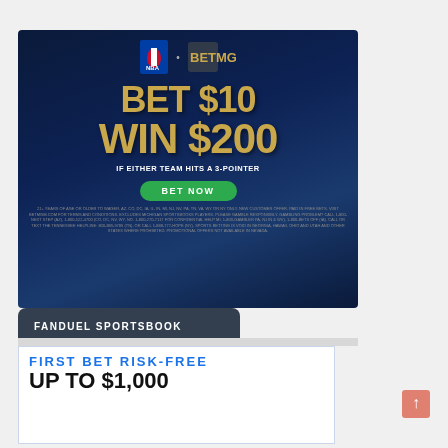[Figure (screenshot): BetMGM advertisement with NBA logo showing 'BET $10 WIN $200 IF EITHER TEAM HITS A 3-POINTER' with a green BET NOW button on a dark blue background]
FANDUEL SPORTSBOOK
[Figure (screenshot): FanDuel Sportsbook promotional banner showing 'FIRST BET RISK-FREE UP TO $1,000']